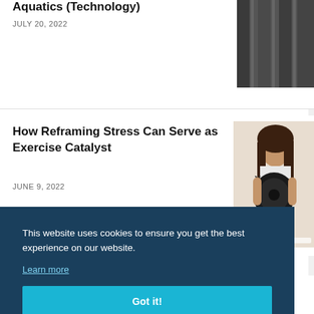Aquatics (Technology)
JULY 20, 2022
[Figure (photo): Partial photo of swimming lanes or athletic equipment, cropped at right edge]
How Reframing Stress Can Serve as Exercise Catalyst
JUNE 9, 2022
[Figure (photo): Woman holding a weight plate, wearing a white tank top, with long hair]
This website uses cookies to ensure you get the best experience on our website.
Learn more
Got it!
Save time and money on all your athletic needs with a Complete